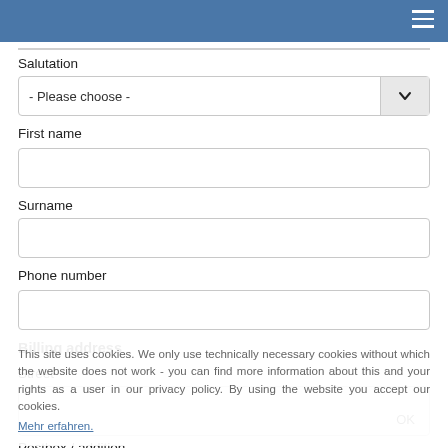Salutation
- Please choose -
First name
Surname
Phone number
Billing address
Street
Postbox / addition
This site uses cookies. We only use technically necessary cookies without which the website does not work - you can find more information about this and your rights as a user in our privacy policy. By using the website you accept our cookies.
Mehr erfahren.
OK